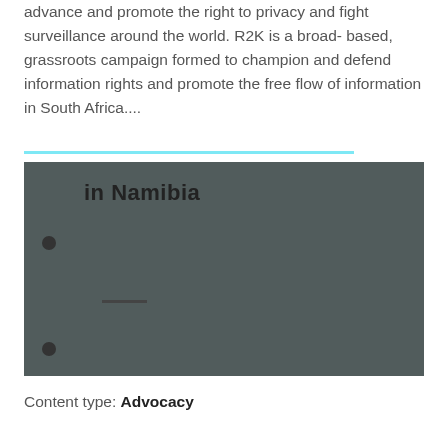advance and promote the right to privacy and fight surveillance around the world. R2K is a broad-based, grassroots campaign formed to champion and defend information rights and promote the free flow of information in South Africa....
[Figure (illustration): Dark grey panel showing partial title 'in Namibia' with two bullet points and a horizontal dash/rule element, text content obscured]
Content type: Advocacy